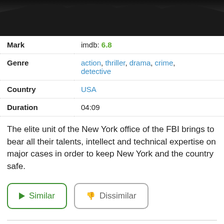[Figure (photo): Dark film still showing silhouettes of people, partially cropped at top]
| Mark | imdb: 6.8 |
| Genre | action, thriller, drama, crime, detective |
| Country | USA |
| Duration | 04:09 |
The elite unit of the New York office of the FBI brings to bear all their talents, intellect and technical expertise on major cases in order to keep New York and the country safe.
▶ Similar   👎 Dissimilar
Pretty Little Liars: The